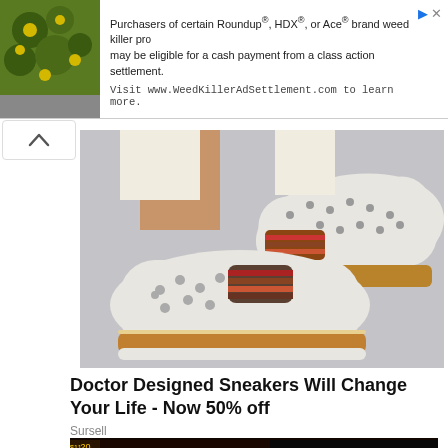[Figure (infographic): Advertisement banner with yellow flowering plant photo on left and text about Roundup/HDX/Ace brand weed killer class action settlement. Visit www.WeedKillerAdSettlement.com to learn more.]
[Figure (photo): Close-up photo of white slip-on sneakers with perforated design, striped elastic band, and cork/tan sole being worn by a person in white pants.]
Doctor Designed Sneakers Will Change Your Life - Now 50% off
Sursell
[Figure (photo): Partial photo showing a casino slot machine display with '$11.71' and '.20' visible on the left, and the back of a person's head on the right with casino lights in background.]